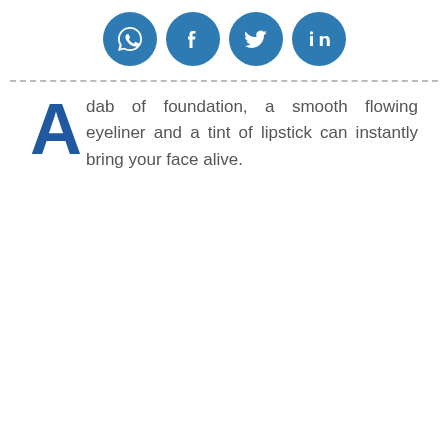[Figure (other): Four social media icon buttons (WhatsApp, Facebook, Twitter, LinkedIn) as blue circles with white icons]
A dab of foundation, a smooth flowing eyeliner and a tint of lipstick can instantly bring your face alive.